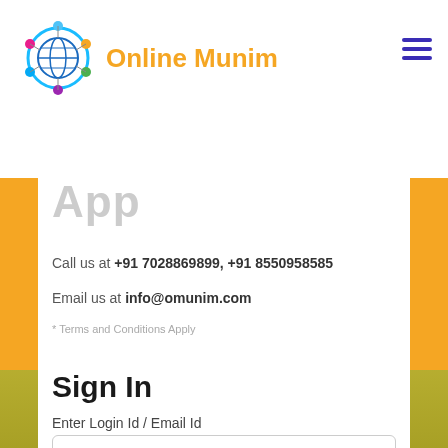[Figure (logo): Online Munim logo with colorful network/globe icon and orange text 'Online Munim']
[Figure (other): Hamburger menu icon (three horizontal purple lines) in top right corner]
App
Call us at +91 7028869899, +91 8550958585
Email us at info@omunim.com
* Terms and Conditions Apply
Sign In
Enter Login Id / Email Id
Enter Here Login Id / Email Id